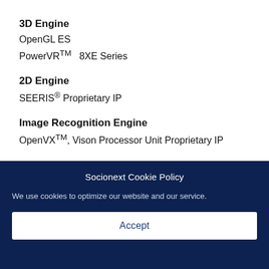3D Engine
OpenGL ES
PowerVR™ 8XE Series
2D Engine
SEERIS® Proprietary IP
Image Recognition Engine
OpenVX™, Vison Processor Unit Proprietary IP
Socionext Cookie Policy
We use cookies to optimize our website and our service.
Accept